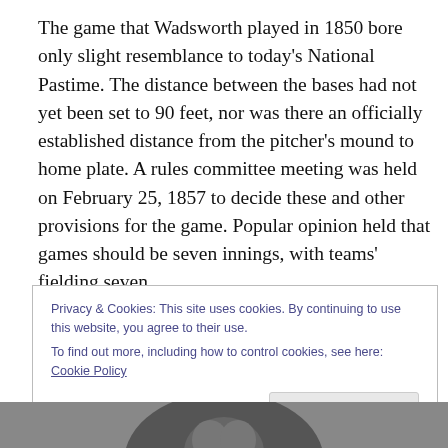The game that Wadsworth played in 1850 bore only slight resemblance to today's National Pastime. The distance between the bases had not yet been set to 90 feet, nor was there an officially established distance from the pitcher's mound to home plate. A rules committee meeting was held on February 25, 1857 to decide these and other provisions for the game. Popular opinion held that games should be seven innings, with teams' fielding seven
Privacy & Cookies: This site uses cookies. By continuing to use this website, you agree to their use.
To find out more, including how to control cookies, see here: Cookie Policy
[Figure (photo): Partial black and white photograph visible at bottom of page]